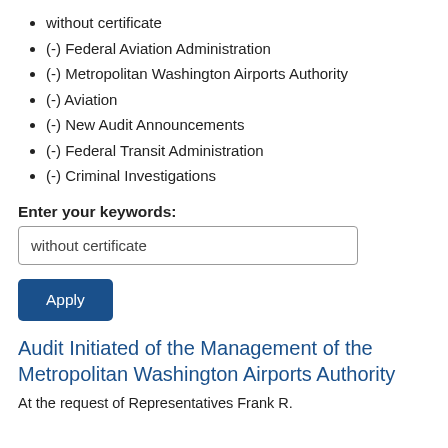without certificate
(-) Federal Aviation Administration
(-) Metropolitan Washington Airports Authority
(-) Aviation
(-) New Audit Announcements
(-) Federal Transit Administration
(-) Criminal Investigations
Enter your keywords:
without certificate
Apply
Audit Initiated of the Management of the Metropolitan Washington Airports Authority
At the request of Representatives Frank R.